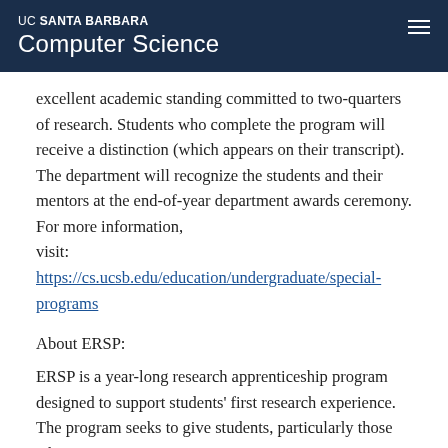UC SANTA BARBARA Computer Science
excellent academic standing committed to two-quarters of research. Students who complete the program will receive a distinction (which appears on their transcript). The department will recognize the students and their mentors at the end-of-year department awards ceremony. For more information, visit: https://cs.ucsb.edu/education/undergraduate/special-programs
About ERSP:
ERSP is a year-long research apprenticeship program designed to support students' first research experience. The program seeks to give students, particularly those who